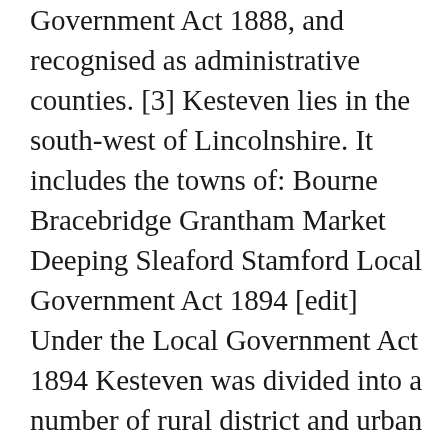Government Act 1888, and recognised as administrative counties. [3] Kesteven lies in the south-west of Lincolnshire. It includes the towns of: Bourne Bracebridge Grantham Market Deeping Sleaford Stamford Local Government Act 1894 [edit] Under the Local Government Act 1894 Kesteven was divided into a number of rural district and urban districts based on earlier sanitary districts: [4] Bourne Rural District Branston Rural District Grantham Rural District Claypole Rural District Sleaford Rural District Uffington Rural District The urban districts and boroughs were: Grantham (borough) Ruskington Stamford (borough) Bourne Urban District was abolished in 1920, with Bourne becoming a parish in Bourne Rural District. Bracebridge became part of the